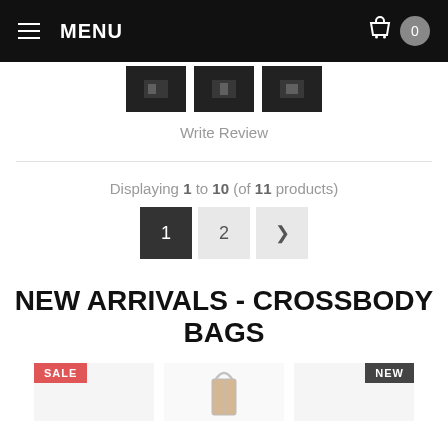MENU
[Figure (screenshot): Three dark product thumbnail images shown in a row]
Write Review
Displaying 1 to 10 (of 11 products)
[Figure (other): Pagination buttons: 1 (active/dark), 2, next arrow]
NEW ARRIVALS - CROSSBODY BAGS
[Figure (other): Product thumbnails row: SALE badge on left, handbag in center, NEW badge on right]